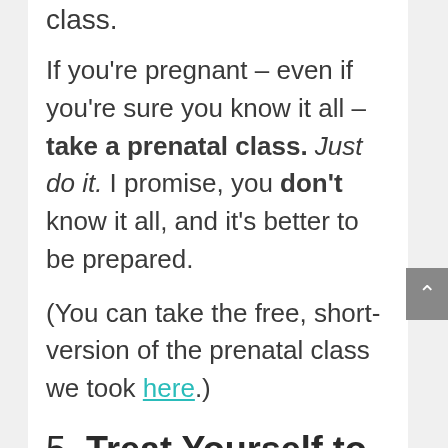class.
If you're pregnant – even if you're sure you know it all – take a prenatal class. Just do it. I promise, you don't know it all, and it's better to be prepared.
(You can take the free, short-version of the prenatal class we took here.)
5. Treat Yourself to